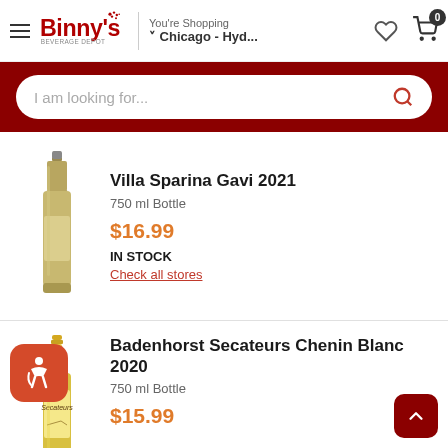Binny's Beverage Depot — You're Shopping Chicago - Hyd...
[Figure (screenshot): Search bar with placeholder text 'I am looking for...' and red search icon on dark red background]
[Figure (photo): Bottle of Villa Sparina Gavi 2021 white wine, amber-colored glass bottle]
Villa Sparina Gavi 2021
750 ml Bottle
$16.99
IN STOCK
Check all stores
[Figure (photo): Bottle of Badenhorst Secateurs Chenin Blanc 2020 white wine with yellow label]
Badenhorst Secateurs Chenin Blanc 2020
750 ml Bottle
$15.99